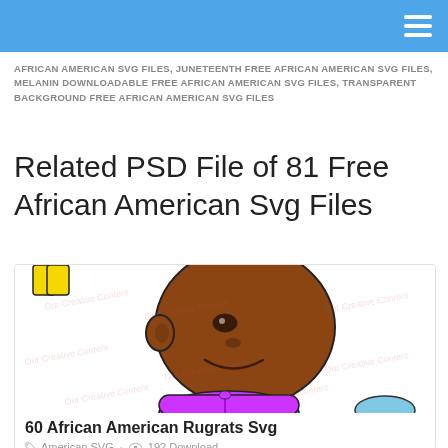Navigation bar with hamburger menu
AFRICAN AMERICAN SVG FILES, JUNETEENTH FREE AFRICAN AMERICAN SVG FILES, MELANIN DOWNLOADABLE FREE AFRICAN AMERICAN SVG FILES, TRANSPARENT BACKGROUND FREE AFRICAN AMERICAN SVG FILES
Related PSD File of 81 Free African American Svg Files
[Figure (illustration): Cartoon illustration of an African American child character from Rugrats, wearing a purple shirt, with yellow items in background, on white background with watermark text repeated]
60 African American Rugrats Svg
American SVG · 192 Download